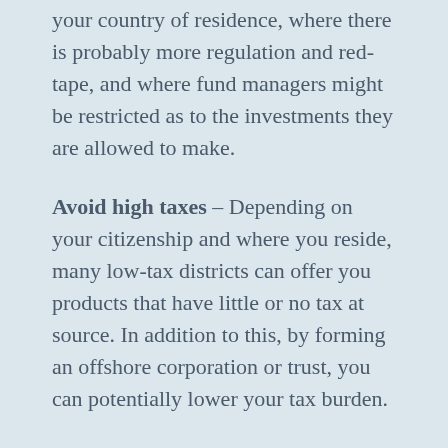your country of residence, where there is probably more regulation and red-tape, and where fund managers might be restricted as to the investments they are allowed to make.
Avoid high taxes – Depending on your citizenship and where you reside, many low-tax districts can offer you products that have little or no tax at source. In addition to this, by forming an offshore corporation or trust, you can potentially lower your tax burden.
Protect your assets from being forfeited – Many offshore financial centers are not required to accept the laws or civil judgments of a foreign government. By creating a foreign corporation and/or trust, you can prevent your assets from being seized by our government and/or lenders